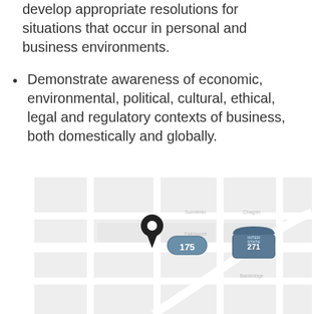develop appropriate resolutions for situations that occur in personal and business environments.
Demonstrate awareness of economic, environmental, political, cultural, ethical, legal and regulatory contexts of business, both domestically and globally.
[Figure (map): A street map showing a location pin marker with highway route signs: 175 (state route) and 271 (interstate), with a grid of streets on a light gray background.]